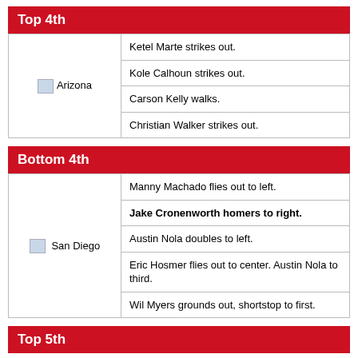Top 4th
| Team | Play |
| --- | --- |
| Arizona | Ketel Marte strikes out. |
|  | Kole Calhoun strikes out. |
|  | Carson Kelly walks. |
|  | Christian Walker strikes out. |
Bottom 4th
| Team | Play |
| --- | --- |
| San Diego | Manny Machado flies out to left. |
|  | Jake Cronenworth homers to right. |
|  | Austin Nola doubles to left. |
|  | Eric Hosmer flies out to center. Austin Nola to third. |
|  | Wil Myers grounds out, shortstop to first. |
Top 5th